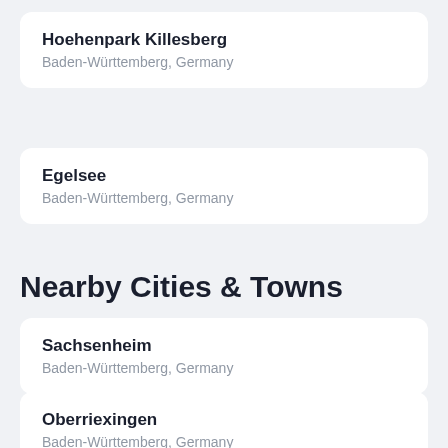Hoehenpark Killesberg
Baden-Württemberg, Germany
Egelsee
Baden-Württemberg, Germany
Nearby Cities & Towns
Sachsenheim
Baden-Württemberg, Germany
Oberriexingen
Baden-Württemberg, Germany